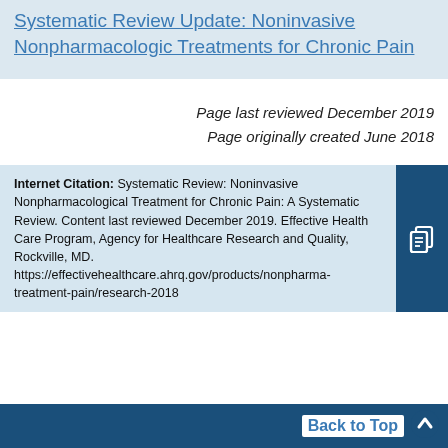Systematic Review Update: Noninvasive Nonpharmacologic Treatments for Chronic Pain
Page last reviewed December 2019
Page originally created June 2018
Internet Citation: Systematic Review: Noninvasive Nonpharmacological Treatment for Chronic Pain: A Systematic Review. Content last reviewed December 2019. Effective Health Care Program, Agency for Healthcare Research and Quality, Rockville, MD. https://effectivehealthcare.ahrq.gov/products/nonpharma-treatment-pain/research-2018
Back to Top